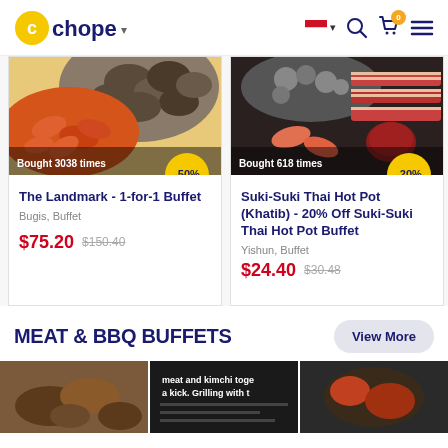[Figure (screenshot): Chope website header with logo, Indonesia flag, search, cart, and menu icons]
[Figure (photo): Food card: The Landmark 1-for-1 Buffet, mussels and shrimp, -50% discount, Bugis Buffet, $75.20 was $150.40, Bought 3038 times]
[Figure (photo): Food card: Suki-Suki Thai Hot Pot (Khatib) 20% Off, -20% discount, Yishun Buffet, $24.40 was $30.48, Bought 618 times]
[Figure (photo): Partial food card: Shiok... showing partial image, $31...]
MEAT & BBQ BUFFETS
[Figure (photo): Three partially visible food photos at bottom for Meat & BBQ Buffets section]